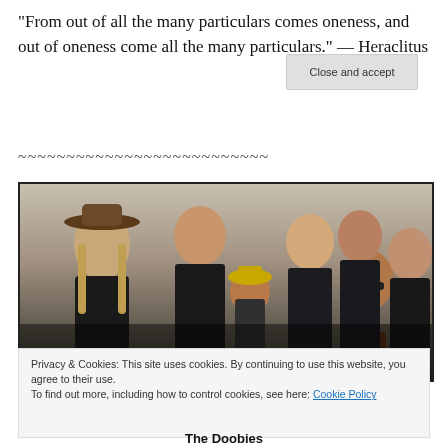“From out of all the many particulars comes oneness, and out of oneness come all the many particulars.” — Heraclitus
~~~~~~~~~~~~~~~~~~~~~~~~~~
[Figure (photo): Group photo of approximately 7 musicians (band members) posing together against a light background. Members wear dark clothing; one wears a cowboy hat, one wears a yellow cap with a star, one wears sunglasses.]
Privacy & Cookies: This site uses cookies. By continuing to use this website, you agree to their use.
To find out more, including how to control cookies, see here: Cookie Policy
Close and accept
The Doobies